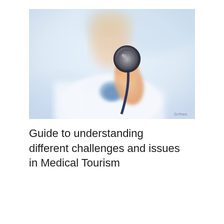[Figure (photo): A female doctor or medical professional in a white coat holding a stethoscope toward the camera in a close-up, blurred background clinical setting. Watermark 'Dr.Prem' visible in lower right corner.]
Guide to understanding different challenges and issues in Medical Tourism